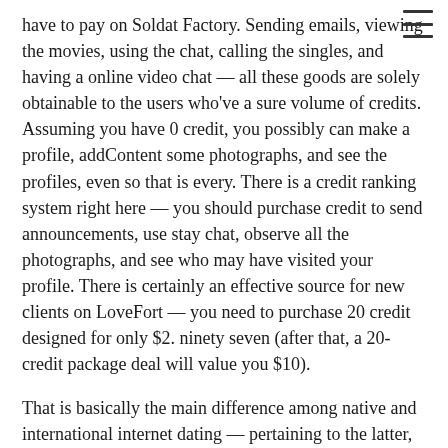have to pay on Soldat Factory. Sending emails, viewing the movies, using the chat, calling the singles, and having a online video chat — all these goods are solely obtainable to the users who've a sure volume of credits. Assuming you have 0 credit, you possibly can make a profile, addContent some photographs, and see the profiles, even so that is every. There is a credit ranking system right here — you should purchase credit to send announcements, use stay chat, observe all the photographs, and see who may have visited your profile. There is certainly an effective source for new clients on LoveFort — you need to purchase 20 credit designed for only $2. ninety seven (after that, a 20-credit package deal will value you $10).
That is basically the main difference among native and international internet dating — pertaining to the latter, it certainly is not about Tinder, Bumble, Match, and different programs that are thriving in America. If you're looking into going out with a person from in another country, you have to go one other means — the pattern of area of interest foreign dating companies. JollyRomance is a great dating system to seek out world-wide love. The purchasers can www.topinternationaldatingsites.com switch to offline communication whenever they want to, thus Jolly Ambiance appears